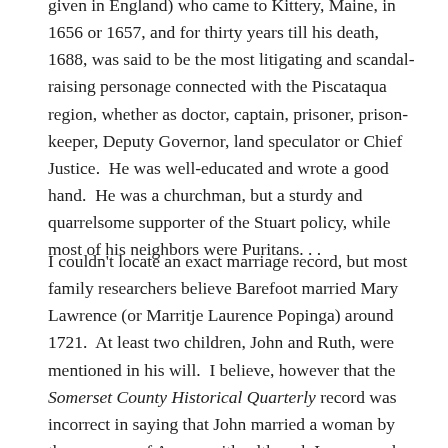given in England) who came to Kittery, Maine, in 1656 or 1657, and for thirty years till his death, 1688, was said to be the most litigating and scandal-raising personage connected with the Piscataqua region, whether as doctor, captain, prisoner, prison-keeper, Deputy Governor, land speculator or Chief Justice.  He was well-educated and wrote a good hand.  He was a churchman, but a sturdy and quarrelsome supporter of the Stuart policy, while most of his neighbors were Puritans. . .
I couldn't locate an exact marriage record, but most family researchers believe Barefoot married Mary Lawrence (or Marritje Laurence Popinga) around 1721.  At least two children, John and Ruth, were mentioned in his will.  I believe, however that the Somerset County Historical Quarterly record was incorrect in saying that John married a woman by the surname of Arrowsmith, although I suppose she could have been a first wife.